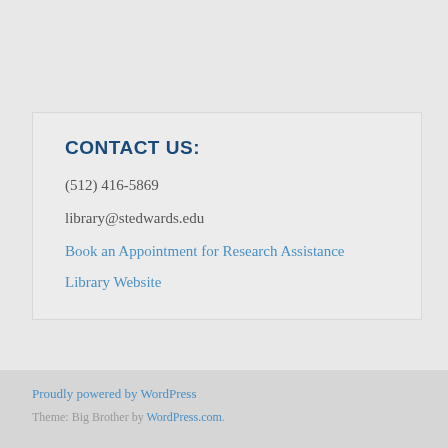CONTACT US:
(512) 416-5869
library@stedwards.edu
Book an Appointment for Research Assistance
Library Website
Proudly powered by WordPress
Theme: Big Brother by WordPress.com.